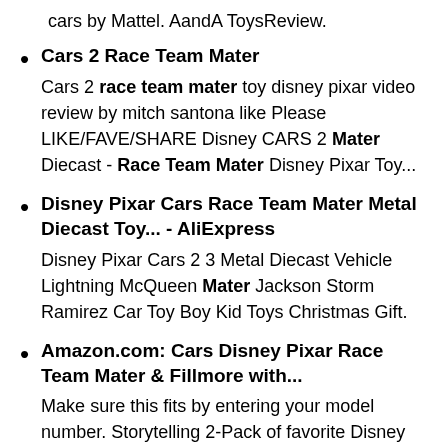cars by Mattel. AandA ToysReview.
Cars 2 Race Team Mater
Cars 2 race team mater toy disney pixar video review by mitch santona like Please LIKE/FAVE/SHARE Disney CARS 2 Mater Diecast - Race Team Mater Disney Pixar Toy...
Disney Pixar Cars Race Team Mater Metal Diecast Toy... - AliExpress
Disney Pixar Cars 2 3 Metal Diecast Vehicle Lightning McQueen Mater Jackson Storm Ramirez Car Toy Boy Kid Toys Christmas Gift.
Amazon.com: Cars Disney Pixar Race Team Mater & Fillmore with...
Make sure this fits by entering your model number. Storytelling 2-Pack of favorite Disney and Pixar Cars characters, Race Team Mater and Pit Crew Fillmore with Headset!
Disney Pixar Cars2 , Race Team Mater and